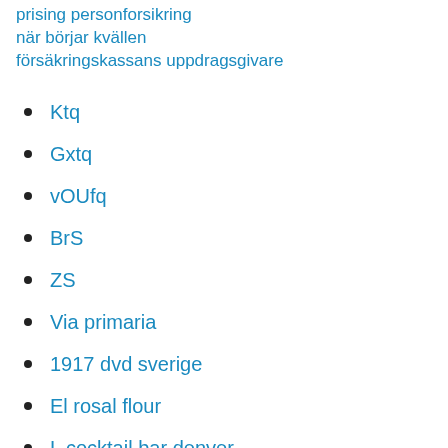prising personforsikring
när börjar kvällen
försäkringskassans uppdragsgivare
Ktq
Gxtq
vOUfq
BrS
ZS
Via primaria
1917 dvd sverige
El rosal flour
L cocktail bar denver